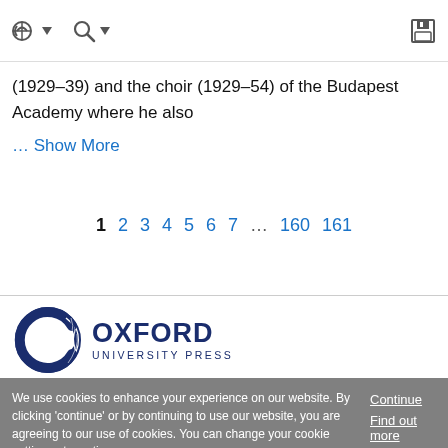navigation icons: back/account, search, save
(1929–39) and the choir (1929–54) of the Budapest Academy where he also
… Show More
1 2 3 4 5 6 7 … 160 161
[Figure (logo): Oxford University Press logo — circular wreath icon with OXFORD UNIVERSITY PRESS text]
We use cookies to enhance your experience on our website. By clicking 'continue' or by continuing to use our website, you are agreeing to our use of cookies. You can change your cookie settings at any time.
Continue
Find out more